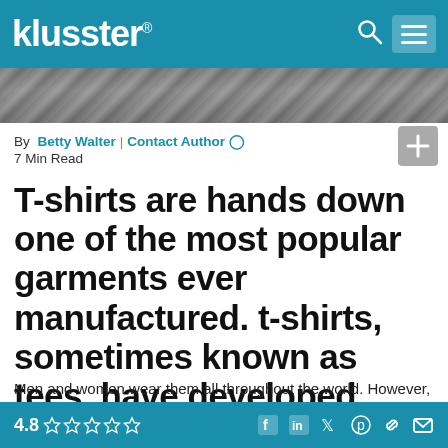klusster®
[Figure (photo): Hero image strip - partially visible stone/concrete textured background]
By Betty Walter | Contact Author ○
7 Min Read
T-shirts are hands down one of the most popular garments ever manufactured. t-shirts, sometimes known as tees, have developed from their humble beginnings and s
Men and women wear them all throughout the world. However, over the last few decades, the fashion
4.8 ☆☆☆☆☆  f in 🐦 p 🔗 ✉